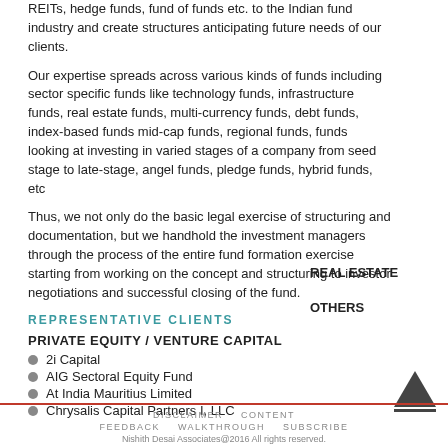REITs, hedge funds, fund of funds etc. to the Indian fund industry and create structures anticipating future needs of our clients.
Our expertise spreads across various kinds of funds including sector specific funds like technology funds, infrastructure funds, real estate funds, multi-currency funds, debt funds, index-based funds mid-cap funds, regional funds, funds looking at investing in varied stages of a company from seed stage to late-stage, angel funds, pledge funds, hybrid funds, etc
Thus, we not only do the basic legal exercise of structuring and documentation, but we handhold the investment managers through the process of the entire fund formation exercise starting from working on the concept and structuring to investor negotiations and successful closing of the fund.
REPRESENTATIVE CLIENTS
PRIVATE EQUITY / VENTURE CAPITAL
2i Capital
AIG Sectoral Equity Fund
At India Mauritius Limited
Chrysalis Capital Partners I, LLC
REAL ESTATE
OTHERS
DISCLAIMER   CONTENT   FEEDBACK   WALKTHROUGH   SUBSCRIBE
Nishith Desai Associates@2016 All rights reserved.